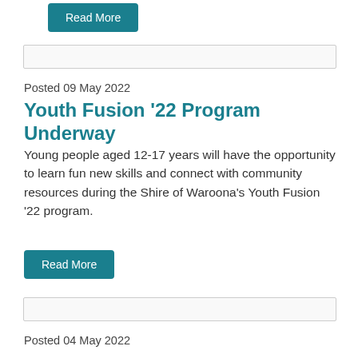[Figure (other): Read More button (teal/green) at top of page]
[Figure (other): Separator box / divider line]
Posted 09 May 2022
Youth Fusion '22 Program Underway
Young people aged 12-17 years will have the opportunity to learn fun new skills and connect with community resources during the Shire of Waroona's Youth Fusion '22 program.
[Figure (other): Read More button (teal/green)]
[Figure (other): Separator box / divider line]
Posted 04 May 2022